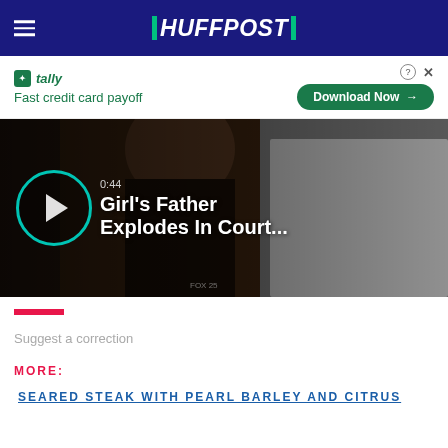HUFFPOST
[Figure (screenshot): Tally advertisement banner: 'Fast credit card payoff' with Download Now button]
[Figure (screenshot): Video thumbnail showing two men, one in dark clothing, one in white uniform. Play button overlay with text '0:44 Girl's Father Explodes In Court...']
Suggest a correction
MORE:
SEARED STEAK WITH PEARL BARLEY AND CITRUS